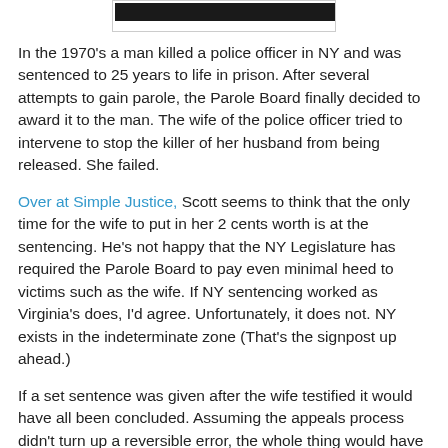[Figure (photo): Partial photo strip visible at the top of the page, appears to be a dark/black and white image cropped at the top edge.]
In the 1970's a man killed a police officer in NY and was sentenced to 25 years to life in prison. After several attempts to gain parole, the Parole Board finally decided to award it to the man. The wife of the police officer tried to intervene to stop the killer of her husband from being released. She failed.
Over at Simple Justice, Scott seems to think that the only time for the wife to put in her 2 cents worth is at the sentencing. He's not happy that the NY Legislature has required the Parole Board to pay even minimal heed to victims such as the wife. If NY sentencing worked as Virginia's does, I'd agree. Unfortunately, it does not. NY exists in the indeterminate zone (That's the signpost up ahead.)
If a set sentence was given after the wife testified it would have all been concluded. Assuming the appeals process didn't turn up a reversible error, the whole thing would have been settled and the wife could have gone on with her life as best she could.